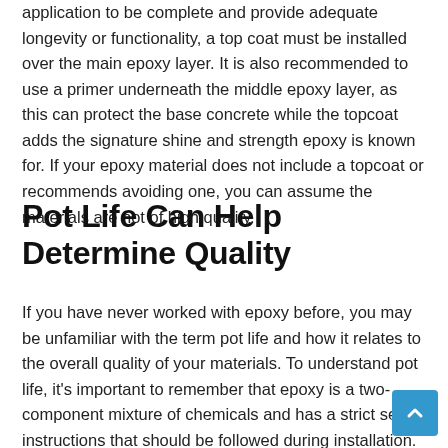application to be complete and provide adequate longevity or functionality, a top coat must be installed over the main epoxy layer. It is also recommended to use a primer underneath the middle epoxy layer, as this can protect the base concrete while the topcoat adds the signature shine and strength epoxy is known for. If your epoxy material does not include a topcoat or recommends avoiding one, you can assume the materials are not of high quality.
Pot Life Can Help Determine Quality
If you have never worked with epoxy before, you may be unfamiliar with the term pot life and how it relates to the overall quality of your materials. To understand pot life, it's important to remember that epoxy is a two-component mixture of chemicals and has a strict set of instructions that should be followed during installation. Pot life is the amount